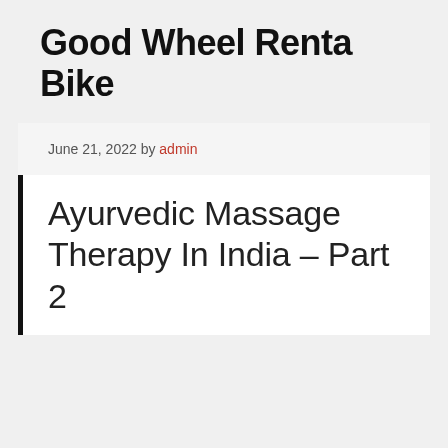Good Wheel Renta Bike
June 21, 2022 by admin
Ayurvedic Massage Therapy In India – Part 2